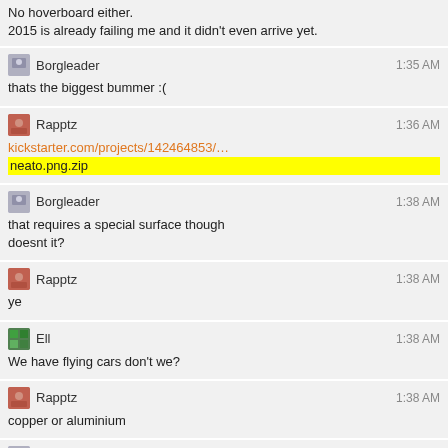No hoverboard either.
2015 is already failing me and it didn't even arrive yet.
Borgleader — 1:35 AM
thats the biggest bummer :(
Rapptz — 1:36 AM
kickstarter.com/projects/142464853/...
neato.png.zip
Borgleader — 1:38 AM
that requires a special surface though
doesnt it?
Rapptz — 1:38 AM
ye
Ell — 1:38 AM
We have flying cars don't we?
Rapptz — 1:38 AM
copper or aluminium
Borgleader — 1:38 AM
@Ell o.o we do?
Rapptz — 1:38 AM